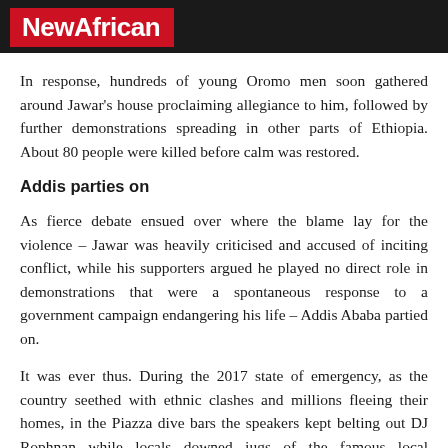NewAfrican
In response, hundreds of young Oromo men soon gathered around Jawar's house proclaiming allegiance to him, followed by further demonstrations spreading in other parts of Ethiopia. About 80 people were killed before calm was restored.
Addis parties on
As fierce debate ensued over where the blame lay for the violence – Jawar was heavily criticised and accused of inciting conflict, while his supporters argued he played no direct role in demonstrations that were a spontaneous response to a government campaign endangering his life – Addis Ababa partied on.
It was ever thus. During the 2017 state of emergency, as the country seethed with ethnic clashes and millions fleeing their homes, in the Piazza dive bars the speakers kept belting out DJ Rophnan while locals downed jugs of the famous local concoction called Turbo.